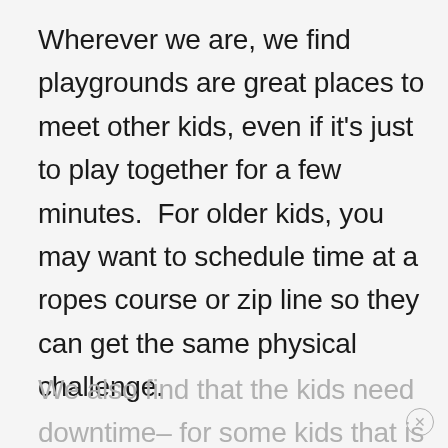Wherever we are, we find playgrounds are great places to meet other kids, even if it's just to play together for a few minutes.  For older kids, you may want to schedule time at a ropes course or zip line so they can get the same physical challenge.
We also find that the kids need downtime– for some kids that is